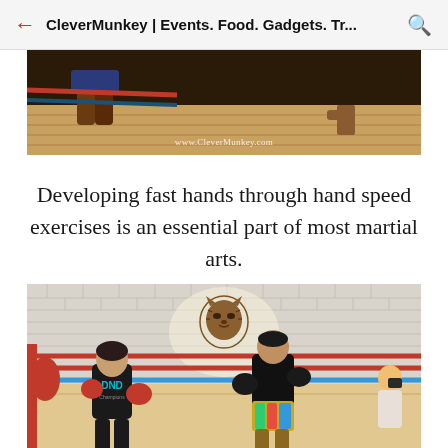CleverMunkey | Events. Food. Gadgets. Tr...
[Figure (photo): Top portion of a Muay Thai boxing ring showing fighters' legs and feet on a wooden floor, with red and blue ropes visible. Watermark reads www.CleverMunkey.com]
Developing fast hands through hand speed exercises is an essential part of most martial arts.
[Figure (photo): Two boxers sparring in a boxing ring at a gym with white brick walls. A female boxer wearing black DND top and red gloves faces a male boxer in black shirt with colorful shorts and black gloves. A tiger head logo is mounted on the wall behind them. A spectator watches in the background.]